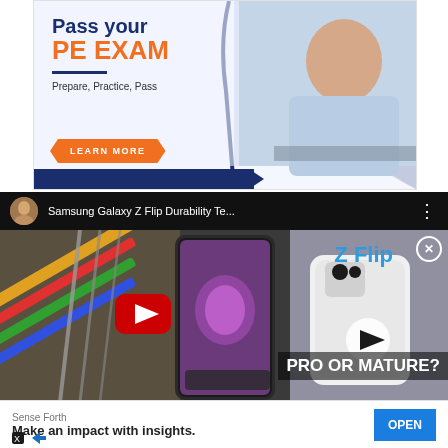[Figure (infographic): PE Exam preparation advertisement banner. Dark blue background with orange accent. Text says 'Pass your PE EXAM', 'Prepare, Practice, Pass', with a 'LEARN MORE' button and a photo of a man working at a desk.]
[Figure (screenshot): YouTube video thumbnail for 'Samsung Galaxy Z Flip Durability Te...' showing the Samsung Galaxy Z Flip phone. Text overlay says 'Z Flip' in blue and 'PRO OR MATURE?' in white bold text. Red YouTube play button visible. Colorful pencils visible on the left. A white phone visible on right side.]
[Figure (infographic): Mobile advertisement banner for 'Sense Forth'. Text says 'Make an impact with insights.' with an 'OPEN' button in blue. X and arrow branding icons at bottom left.]